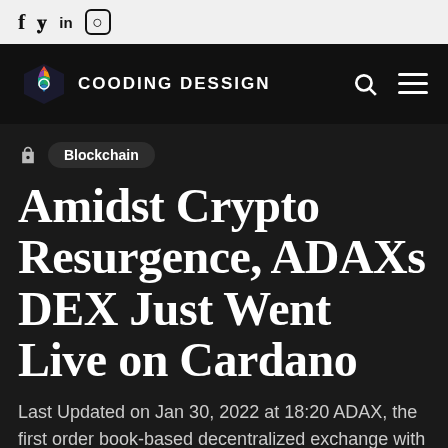f 𝐲 in ⊙
COODING DESSIGN
🔒 Blockchain
Amidst Crypto Resurgence, ADAXs DEX Just Went Live on Cardano
Last Updated on Jan 30, 2022 at 18:20 ADAX, the first order book-based decentralized exchange with censorship-resistant transactions on Cardano, is live. The launch